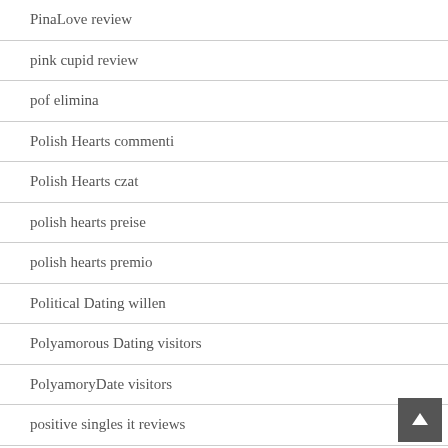PinaLove review
pink cupid review
pof elimina
Polish Hearts commenti
Polish Hearts czat
polish hearts preise
polish hearts premio
Political Dating willen
Polyamorous Dating visitors
PolyamoryDate visitors
positive singles it reviews
Positive Singles meet site